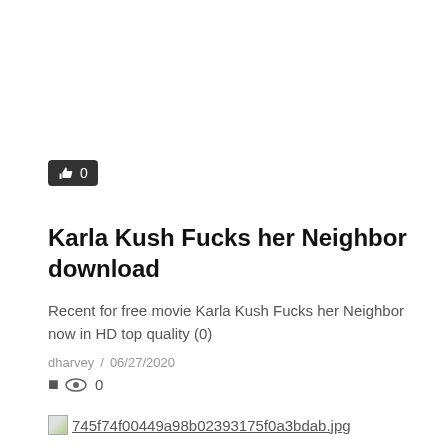[Figure (other): Like/thumbs-up button badge showing count 0 on dark background]
Karla Kush Fucks her Neighbor download
Recent for free movie Karla Kush Fucks her Neighbor now in HD top quality (0)
dharvey  /  06/27/2020
0
[Figure (photo): Broken image placeholder showing filename: 745f74f00449a98b02393175f0a3bdab.jpg]